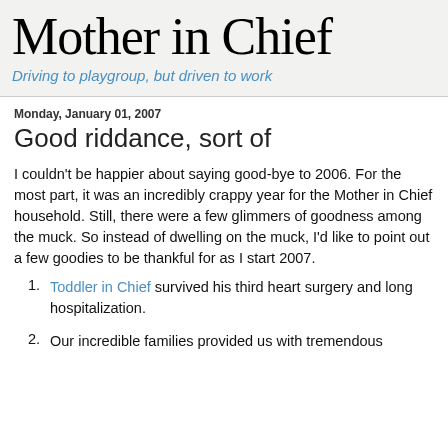Mother in Chief
Driving to playgroup, but driven to work
Monday, January 01, 2007
Good riddance, sort of
I couldn't be happier about saying good-bye to 2006. For the most part, it was an incredibly crappy year for the Mother in Chief household. Still, there were a few glimmers of goodness among the muck. So instead of dwelling on the muck, I'd like to point out a few goodies to be thankful for as I start 2007.
Toddler in Chief survived his third heart surgery and long hospitalization.
Our incredible families provided us with tremendous